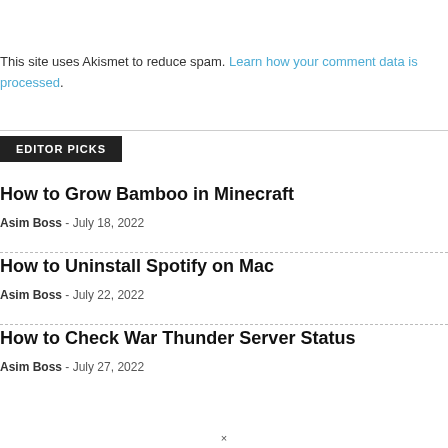This site uses Akismet to reduce spam. Learn how your comment data is processed.
EDITOR PICKS
How to Grow Bamboo in Minecraft
Asim Boss  -  July 18, 2022
How to Uninstall Spotify on Mac
Asim Boss  -  July 22, 2022
How to Check War Thunder Server Status
Asim Boss  -  July 27, 2022
×